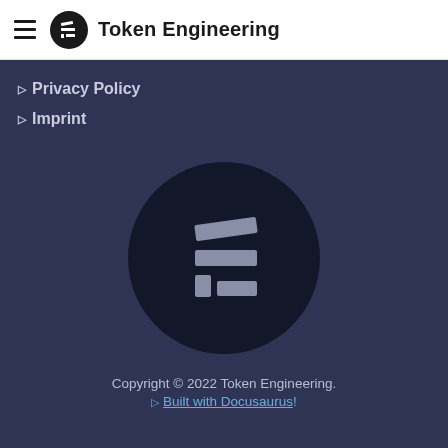Token Engineering
Privacy Policy
Imprint
[Figure (logo): Token Engineering logo — large circular dark badge with stylized F/E lettermark in grey on very dark navy background]
Copyright © 2022 Token Engineering. ❤ Built with Docusaurus!